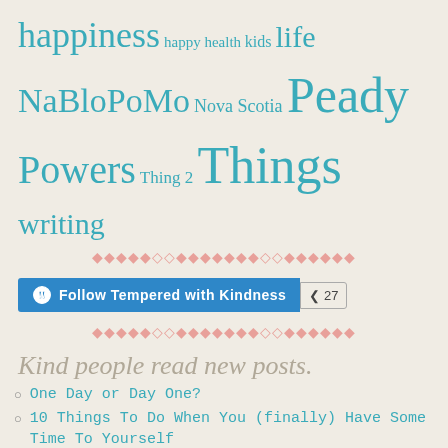happiness happy health kids life NaBloPoMo Nova Scotia Peady Powers Thing 2 Things writing
[Figure (other): Decorative diamond divider pattern in pink/salmon color]
[Figure (other): WordPress Follow button for Tempered with Kindness with follower count 27]
[Figure (other): Decorative diamond divider pattern in pink/salmon color]
Kind people read new posts.
One Day or Day One?
10 Things To Do When You (finally) Have Some Time To Yourself
5 (MORE) Worthy Causes For Your Kind Consideration on Giving Tuesday (orrrr … you know it's time to update when an organization